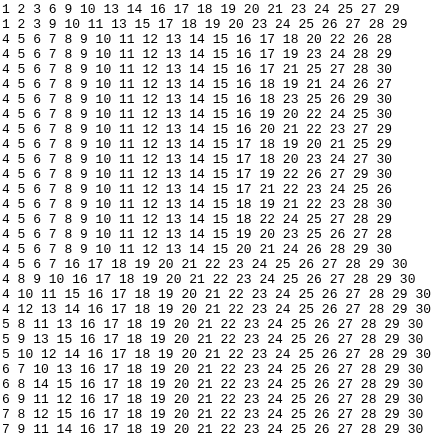| 1 | 2 | 3 | 6 | 9 | 10 | 13 | 14 | 16 | 17 | 18 | 19 | 20 | 21 | 23 | 24 | 25 | 27 | 29 |
| 1 | 2 | 3 | 9 | 10 | 11 | 13 | 15 | 17 | 18 | 19 | 20 | 23 | 24 | 25 | 26 | 27 | 28 | 29 |
| 4 | 5 | 6 | 7 | 8 | 9 | 10 | 11 | 12 | 13 | 14 | 15 | 16 | 17 | 18 | 20 | 22 | 26 | 28 |
| 4 | 5 | 6 | 7 | 8 | 9 | 10 | 11 | 12 | 13 | 14 | 15 | 16 | 17 | 19 | 23 | 24 | 28 | 29 |
| 4 | 5 | 6 | 7 | 8 | 9 | 10 | 11 | 12 | 13 | 14 | 15 | 16 | 17 | 21 | 25 | 27 | 28 | 30 |
| 4 | 5 | 6 | 7 | 8 | 9 | 10 | 11 | 12 | 13 | 14 | 15 | 16 | 18 | 19 | 21 | 24 | 26 | 27 |
| 4 | 5 | 6 | 7 | 8 | 9 | 10 | 11 | 12 | 13 | 14 | 15 | 16 | 18 | 23 | 25 | 26 | 29 | 30 |
| 4 | 5 | 6 | 7 | 8 | 9 | 10 | 11 | 12 | 13 | 14 | 15 | 16 | 19 | 20 | 22 | 24 | 25 | 30 |
| 4 | 5 | 6 | 7 | 8 | 9 | 10 | 11 | 12 | 13 | 14 | 15 | 16 | 20 | 21 | 22 | 23 | 27 | 29 |
| 4 | 5 | 6 | 7 | 8 | 9 | 10 | 11 | 12 | 13 | 14 | 15 | 17 | 18 | 19 | 20 | 21 | 25 | 29 |
| 4 | 5 | 6 | 7 | 8 | 9 | 10 | 11 | 12 | 13 | 14 | 15 | 17 | 18 | 20 | 23 | 24 | 27 | 30 |
| 4 | 5 | 6 | 7 | 8 | 9 | 10 | 11 | 12 | 13 | 14 | 15 | 17 | 19 | 22 | 26 | 27 | 29 | 30 |
| 4 | 5 | 6 | 7 | 8 | 9 | 10 | 11 | 12 | 13 | 14 | 15 | 17 | 21 | 22 | 23 | 24 | 25 | 26 |
| 4 | 5 | 6 | 7 | 8 | 9 | 10 | 11 | 12 | 13 | 14 | 15 | 18 | 19 | 21 | 22 | 23 | 28 | 30 |
| 4 | 5 | 6 | 7 | 8 | 9 | 10 | 11 | 12 | 13 | 14 | 15 | 18 | 22 | 24 | 25 | 27 | 28 | 29 |
| 4 | 5 | 6 | 7 | 8 | 9 | 10 | 11 | 12 | 13 | 14 | 15 | 19 | 20 | 23 | 25 | 26 | 27 | 28 |
| 4 | 5 | 6 | 7 | 8 | 9 | 10 | 11 | 12 | 13 | 14 | 15 | 20 | 21 | 24 | 26 | 28 | 29 | 30 |
| 4 | 5 | 6 | 7 | 16 | 17 | 18 | 19 | 20 | 21 | 22 | 23 | 24 | 25 | 26 | 27 | 28 | 29 | 30 |
| 4 | 8 | 9 | 10 | 16 | 17 | 18 | 19 | 20 | 21 | 22 | 23 | 24 | 25 | 26 | 27 | 28 | 29 | 30 |
| 4 | 10 | 11 | 15 | 16 | 17 | 18 | 19 | 20 | 21 | 22 | 23 | 24 | 25 | 26 | 27 | 28 | 29 | 30 |
| 4 | 12 | 13 | 14 | 16 | 17 | 18 | 19 | 20 | 21 | 22 | 23 | 24 | 25 | 26 | 27 | 28 | 29 | 30 |
| 5 | 8 | 11 | 13 | 16 | 17 | 18 | 19 | 20 | 21 | 22 | 23 | 24 | 25 | 26 | 27 | 28 | 29 | 30 |
| 5 | 9 | 13 | 15 | 16 | 17 | 18 | 19 | 20 | 21 | 22 | 23 | 24 | 25 | 26 | 27 | 28 | 29 | 30 |
| 5 | 10 | 12 | 14 | 16 | 17 | 18 | 19 | 20 | 21 | 22 | 23 | 24 | 25 | 26 | 27 | 28 | 29 | 30 |
| 6 | 7 | 10 | 13 | 16 | 17 | 18 | 19 | 20 | 21 | 22 | 23 | 24 | 25 | 26 | 27 | 28 | 29 | 30 |
| 6 | 8 | 14 | 15 | 16 | 17 | 18 | 19 | 20 | 21 | 22 | 23 | 24 | 25 | 26 | 27 | 28 | 29 | 30 |
| 6 | 9 | 11 | 12 | 16 | 17 | 18 | 19 | 20 | 21 | 22 | 23 | 24 | 25 | 26 | 27 | 28 | 29 | 30 |
| 7 | 8 | 12 | 15 | 16 | 17 | 18 | 19 | 20 | 21 | 22 | 23 | 24 | 25 | 26 | 27 | 28 | 29 | 30 |
| 7 | 9 | 11 | 14 | 16 | 17 | 18 | 19 | 20 | 21 | 22 | 23 | 24 | 25 | 26 | 27 | 28 | 29 | 30 |